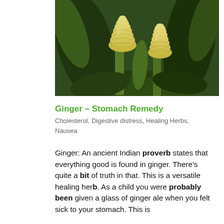[Figure (photo): Close-up photograph of ginger plant flowers — yellowish-green layered bud formations among green tropical foliage]
Ginger – Stomach Remedy
Cholesterol, Digestive distress, Healing Herbs, Nausea
Ginger: An ancient Indian proverb states that everything good is found in ginger. There's quite a bit of truth in that. This is a versatile healing herb. As a child you were probably been given a glass of ginger ale when you felt sick to your stomach. This is